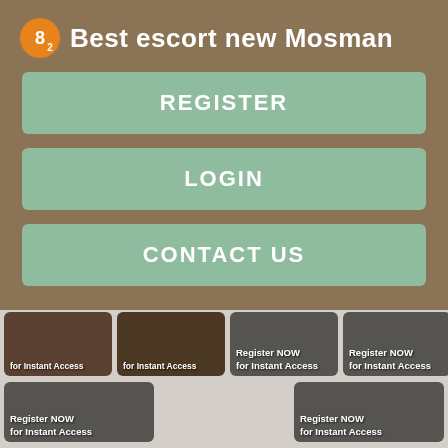Best escort new Mosman
REGISTER
LOGIN
CONTACT US
[Figure (screenshot): Grid of thumbnail images with 'Register NOW for Instant Access' overlay text on dark/photo backgrounds]
Register NOW for Instant Access
Register NOW for Instant Access
Register NOW for Instant Access
Register NOW for Instant Access
Register NOW for Instant Access
Register NOW for Instant Access